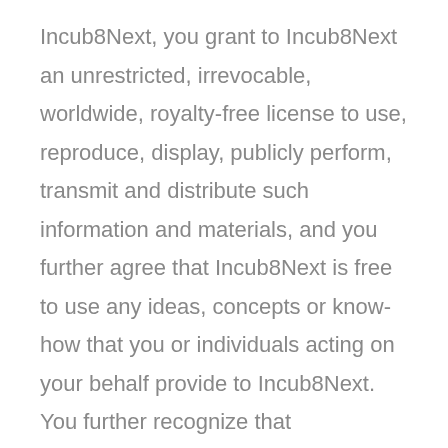Incub8Next, you grant to Incub8Next an unrestricted, irrevocable, worldwide, royalty-free license to use, reproduce, display, publicly perform, transmit and distribute such information and materials, and you further agree that Incub8Next is free to use any ideas, concepts or know-how that you or individuals acting on your behalf provide to Incub8Next. You further recognize that Incub8Next does not want you to, and you represent that you shall not,